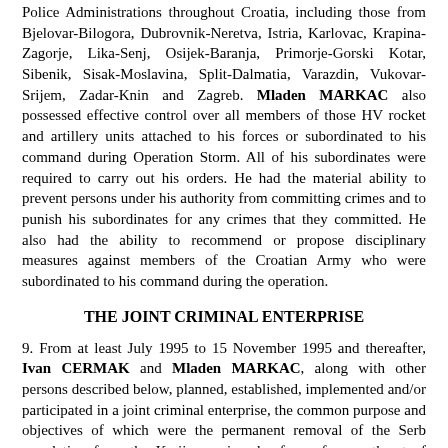Police Administrations throughout Croatia, including those from Bjelovar-Bilogora, Dubrovnik-Neretva, Istria, Karlovac, Krapina-Zagorje, Lika-Senj, Osijek-Baranja, Primorje-Gorski Kotar, Sibenik, Sisak-Moslavina, Split-Dalmatia, Varazdin, Vukovar-Srijem, Zadar-Knin and Zagreb. Mladen MARKAC also possessed effective control over all members of those HV rocket and artillery units attached to his forces or subordinated to his command during Operation Storm. All of his subordinates were required to carry out his orders. He had the material ability to prevent persons under his authority from committing crimes and to punish his subordinates for any crimes that they committed. He also had the ability to recommend or propose disciplinary measures against members of the Croatian Army who were subordinated to his command during the operation.
THE JOINT CRIMINAL ENTERPRISE
9. From at least July 1995 to 15 November 1995 and thereafter, Ivan CERMAK and Mladen MARKAC, along with other persons described below, planned, established, implemented and/or participated in a joint criminal enterprise, the common purpose and objectives of which were the permanent removal of the Serb population from the Krajina region, by force, fear or threat of force, persecution, forced displacement, transfer and deportation, appropriation and destruction of property and other means, which constituted or involved the commission of crimes punishable under